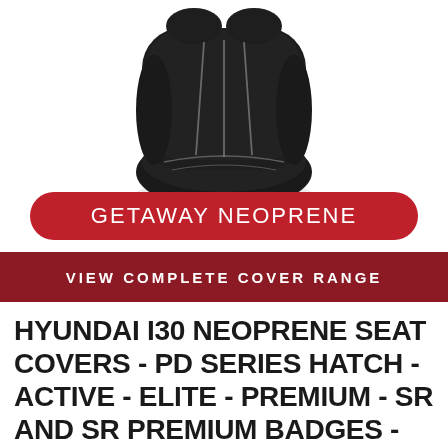[Figure (photo): Black neoprene car seat cover photographed against white background, showing the seat back and base with grey accent stitching lines running vertically]
GETAWAY NEOPRENE
VIEW COMPLETE COVER RANGE
HYUNDAI I30 NEOPRENE SEAT COVERS - PD SERIES HATCH - ACTIVE - ELITE - PREMIUM - SR AND SR PREMIUM BADGES - 2017 TO CURRENT